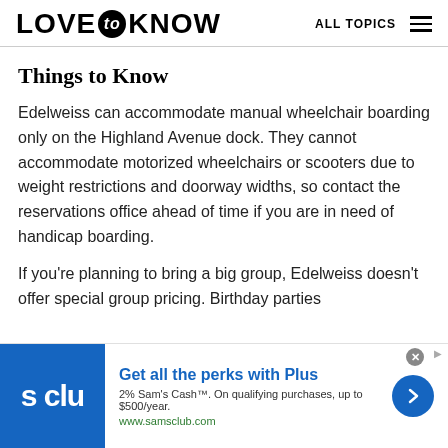LOVE to KNOW   ALL TOPICS
Things to Know
Edelweiss can accommodate manual wheelchair boarding only on the Highland Avenue dock. They cannot accommodate motorized wheelchairs or scooters due to weight restrictions and doorway widths, so contact the reservations office ahead of time if you are in need of handicap boarding.
If you're planning to bring a big group, Edelweiss doesn't offer special group pricing. Birthday parties
[Figure (other): Advertisement banner for Sam's Club Plus membership: blue logo box with 's clu' text, headline 'Get all the perks with Plus', subtext '2% Sam's Cash™. On qualifying purchases, up to $500/year.', URL 'www.samsclub.com', blue arrow button, close X button]